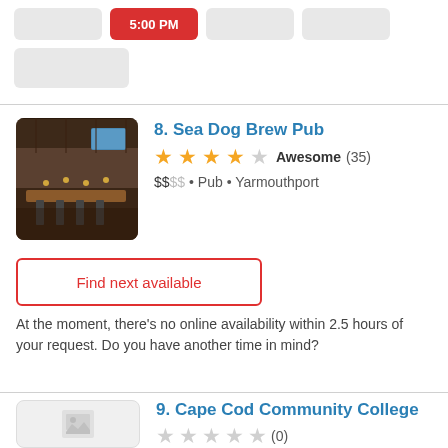[Figure (screenshot): Top section showing time selection buttons including a red '5:00 PM' button and gray placeholder buttons]
8. Sea Dog Brew Pub
★★★★½ Awesome (35)
$$SS • Pub • Yarmouthport
Find next available
At the moment, there's no online availability within 2.5 hours of your request. Do you have another time in mind?
9. Cape Cod Community College
★★★★★ (0)
$$SS • American • Barnstable
Find next available